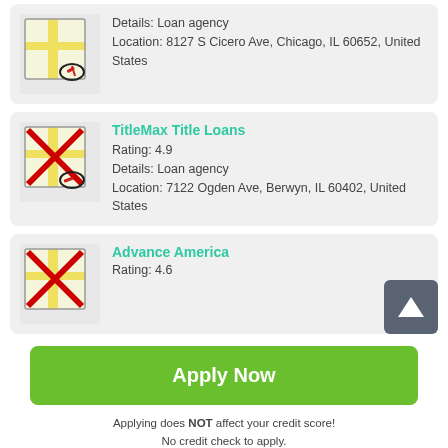[Figure (screenshot): Map icon with red X and compass/gauge overlay for first listing (partial, top of page)]
Details: Loan agency
Location: 8127 S Cicero Ave, Chicago, IL 60652, United States
[Figure (screenshot): Map icon with red X and compass/gauge overlay for TitleMax Title Loans]
TitleMax Title Loans
Rating: 4.9
Details: Loan agency
Location: 7122 Ogden Ave, Berwyn, IL 60402, United States
[Figure (screenshot): Map icon with red X and compass/gauge overlay for Advance America]
Advance America
Rating: 4.6
Apply Now
Applying does NOT affect your credit score!
No credit check to apply.